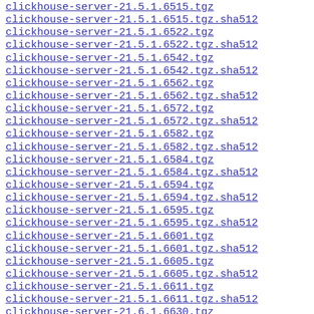clickhouse-server-21.5.1.6515.tgz
clickhouse-server-21.5.1.6515.tgz.sha512
clickhouse-server-21.5.1.6522.tgz
clickhouse-server-21.5.1.6522.tgz.sha512
clickhouse-server-21.5.1.6542.tgz
clickhouse-server-21.5.1.6542.tgz.sha512
clickhouse-server-21.5.1.6562.tgz
clickhouse-server-21.5.1.6562.tgz.sha512
clickhouse-server-21.5.1.6572.tgz
clickhouse-server-21.5.1.6572.tgz.sha512
clickhouse-server-21.5.1.6582.tgz
clickhouse-server-21.5.1.6582.tgz.sha512
clickhouse-server-21.5.1.6584.tgz
clickhouse-server-21.5.1.6584.tgz.sha512
clickhouse-server-21.5.1.6594.tgz
clickhouse-server-21.5.1.6594.tgz.sha512
clickhouse-server-21.5.1.6595.tgz
clickhouse-server-21.5.1.6595.tgz.sha512
clickhouse-server-21.5.1.6601.tgz
clickhouse-server-21.5.1.6601.tgz.sha512
clickhouse-server-21.5.1.6605.tgz
clickhouse-server-21.5.1.6605.tgz.sha512
clickhouse-server-21.5.1.6611.tgz
clickhouse-server-21.5.1.6611.tgz.sha512
clickhouse-server-21.6.1.6630.tgz
clickhouse-server-21.6.1.6630.tgz.sha512
clickhouse-server-21.6.1.6689.tgz
clickhouse-server-21.6.1.6689.tgz.sha512
clickhouse-server-21.6.1.6759.tgz
clickhouse-server-21.6.1.6759.tgz.sha512
clickhouse-server-21.6.1.6760.tgz